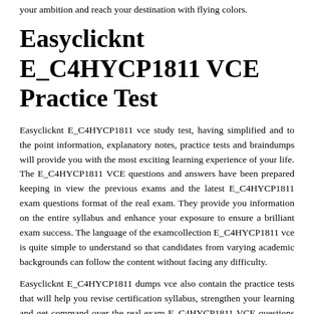your ambition and reach your destination with flying colors.
Easyclicknt E_C4HYCP1811 VCE Practice Test
Easyclicknt E_C4HYCP1811 vce study test, having simplified and to the point information, explanatory notes, practice tests and braindumps will provide you with the most exciting learning experience of your life. The E_C4HYCP1811 VCE questions and answers have been prepared keeping in view the previous exams and the latest E_C4HYCP1811 exam questions format of the real exam. They provide you information on the entire syllabus and enhance your exposure to ensure a brilliant exam success. The language of the examcollection E_C4HYCP1811 vce is quite simple to understand so that candidates from varying academic backgrounds can follow the content without facing any difficulty.
Easyclicknt E_C4HYCP1811 dumps vce also contain the practice tests that will help you revise certification syllabus, strengthen your learning and get command over the real exam E_C4HYCP1811 VCE questions format. You can also learn to manage time properly for the actual exam